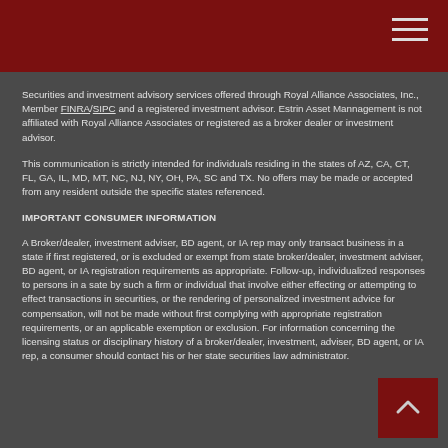Securities and investment advisory services offered through Royal Alliance Associates, Inc., Member FINRA/SIPC and a registered investment advisor. Estrin Asset Mannagement is not affiliated with Royal Alliance Associates or registered as a broker dealer or investment advisor.
This communication is strictly intended for individuals residing in the states of AZ, CA, CT, FL, GA, IL, MD, MT, NC, NJ, NY, OH, PA, SC and TX. No offers may be made or accepted from any resident outside the specific states referenced.
IMPORTANT CONSUMER INFORMATION
A Broker/dealer, investment adviser, BD agent, or IA rep may only transact business in a state if first registered, or is excluded or exempt from state broker/dealer, investment adviser, BD agent, or IA registration requirements as appropriate. Follow-up, individualized responses to persons in a sate by such a firm or individual that involve either effecting or attempting to effect transactions in securities, or the rendering of personalized investment advice for compensation, will not be made without first complying with appropriate registration requirements, or an applicable exemption or exclusion. For information concerning the licensing status or disciplinary history of a broker/dealer, investment, adviser, BD agent, or IA rep, a consumer should contact his or her state securities law administrator.